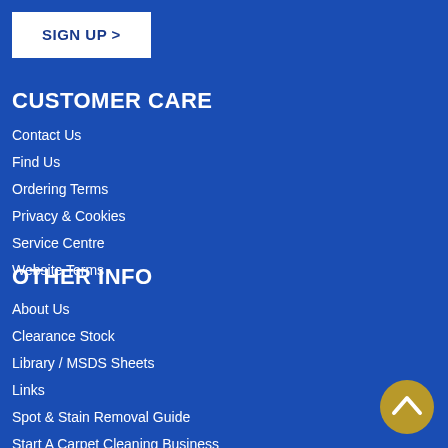SIGN UP >
CUSTOMER CARE
Contact Us
Find Us
Ordering Terms
Privacy & Cookies
Service Centre
Website Terms
OTHER INFO
About Us
Clearance Stock
Library / MSDS Sheets
Links
Spot & Stain Removal Guide
Start A Carpet Cleaning Business
Training Courses
[Figure (illustration): Gold circular back-to-top button with upward chevron arrow]